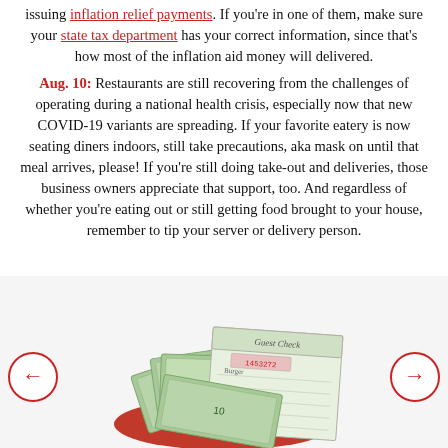issuing inflation relief payments. If you're in one of them, make sure your state tax department has your correct information, since that's how most of the inflation aid money will delivered.
Aug. 10: Restaurants are still recovering from the challenges of operating during a national health crisis, especially now that new COVID-19 variants are spreading. If your favorite eatery is now seating diners indoors, still take precautions, aka mask on until that meal arrives, please! If you're still doing take-out and deliveries, those business owners appreciate that support, too. And regardless of whether you're eating out or still getting food brought to your house, remember to tip your server or delivery person.
[Figure (photo): Photo of a restaurant guest check with cash bills (dollars) placed on top, sitting on a red plate/tray]